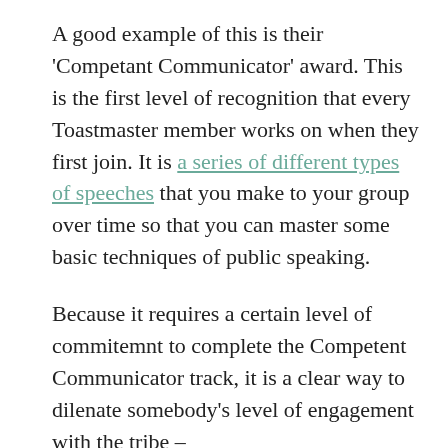A good example of this is their 'Competant Communicator' award. This is the first level of recognition that every Toastmaster member works on when they first join. It is a series of different types of speeches that you make to your group over time so that you can master some basic techniques of public speaking.
Because it requires a certain level of commitemnt to complete the Competent Communicator track, it is a clear way to dilenate somebody's level of engagement with the tribe –